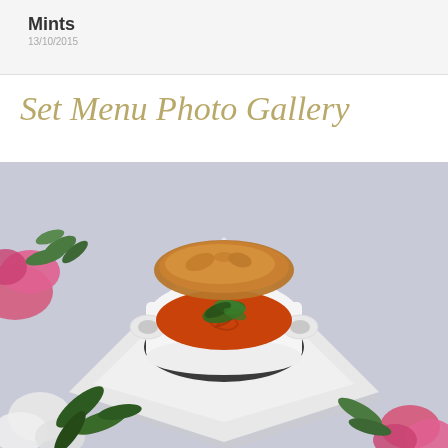Mints
Set Menu Photo Gallery
[Figure (photo): A white double-handled soup cup filled with tomato soup, garnished with fresh herbs, served on a square white plate with a black coaster. A rustic bread roll sits behind the cup. Pink and white flowers and green herbs are arranged around the plate on a light grey background.]